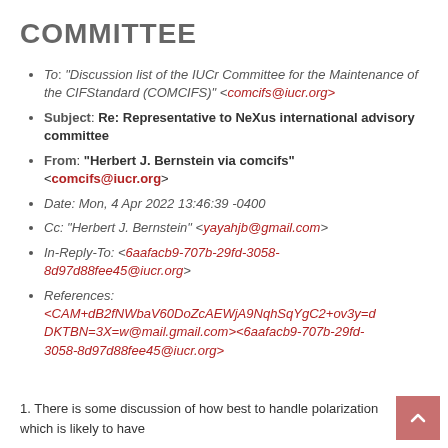COMMITTEE
To: "Discussion list of the IUCr Committee for the Maintenance of the CIFStandard (COMCIFS)" <comcifs@iucr.org>
Subject: Re: Representative to NeXus international advisory committee
From: "Herbert J. Bernstein via comcifs" <comcifs@iucr.org>
Date: Mon, 4 Apr 2022 13:46:39 -0400
Cc: "Herbert J. Bernstein" <yayahjb@gmail.com>
In-Reply-To: <6aafacb9-707b-29fd-3058-8d97d88fee45@iucr.org>
References: <CAM+dB2fNWbaV60DoZcAEWjA9NqhSqYgC2+ov3y=dDKTBN=3X=w@mail.gmail.com><6aafacb9-707b-29fd-3058-8d97d88fee45@iucr.org>
1. There is some discussion of how best to handle polarization which is likely to have